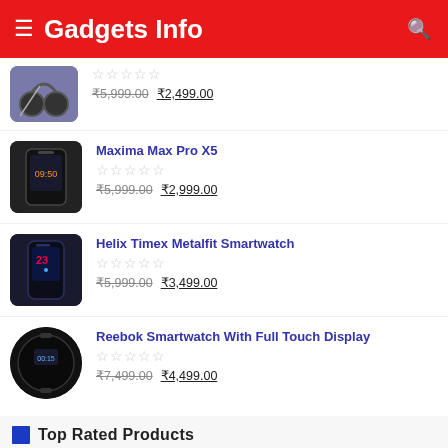Gadgets Info
₹5,999.00 ₹2,499.00 (partial item at top)
Maxima Max Pro X5 — ₹5,999.00 ₹2,999.00
Helix Timex Metalfit Smartwatch — ₹5,999.00 ₹3,499.00
Reebok Smartwatch With Full Touch Display — ₹7,499.00 ₹4,499.00
Top Rated Products
Smart AMOLED Display Watch (partial)